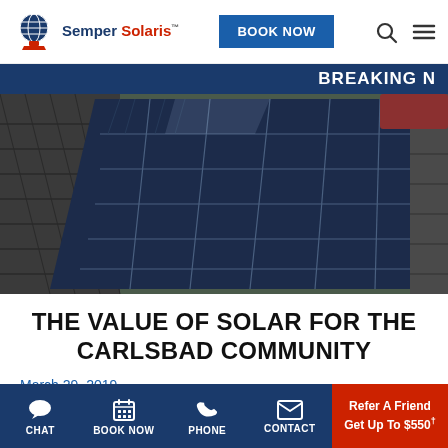[Figure (logo): Semper Solaris logo with globe icon, company name in navy and red]
[Figure (screenshot): BOOK NOW button in blue]
[Figure (photo): Solar panels installed on a roof, wide angle view]
THE VALUE OF SOLAR FOR THE CARLSBAD COMMUNITY
March 29, 2019
[Figure (infographic): Bottom navigation bar with Chat, Book Now, Phone, Contact icons and Refer A Friend Get Up To $550 offer]